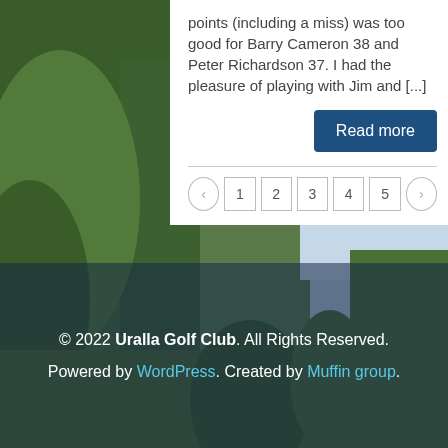[Figure (photo): Background photo of golf course with trees and sky, with a red flag visible in the lower portion]
points (including a miss) was too good for Barry Cameron 38 and Peter Richardson 37. I had the pleasure of playing with Jim and [...]
Read more
< 1 2 3 4 5 >
© 2022 Uralla Golf Club. All Rights Reserved. Powered by WordPress. Created by Muffin group.